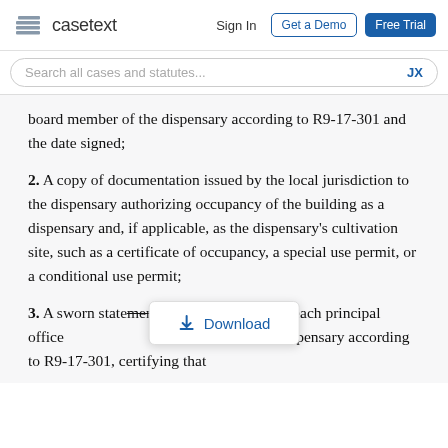casetext   Sign In   Get a Demo   Free Trial
Search all cases and statutes...   JX
board member of the dispensary according to R9-17-301 and the date signed;
2. A copy of documentation issued by the local jurisdiction to the dispensary authorizing occupancy of the building as a dispensary and, if applicable, as the dispensary's cultivation site, such as a certificate of occupancy, a special use permit, or a conditional use permit;
3. A sworn statement, signed and dated by each principal officer, director, or board member of the dispensary according to R9-17-301, certifying that